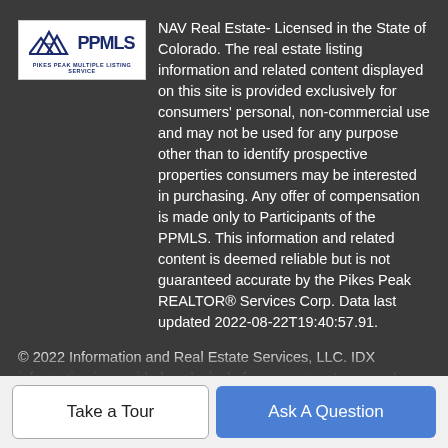[Figure (logo): Pikes Peak Multiple Listing Service (PPMLS) logo with mountain graphic]
NAV Real Estate- Licensed in the State of Colorado. The real estate listing information and related content displayed on this site is provided exclusively for consumers' personal, non-commercial use and may not be used for any purpose other than to identify prospective properties consumers may be interested in purchasing. Any offer of compensation is made only to Participants of the PPMLS. This information and related content is deemed reliable but is not guaranteed accurate by the Pikes Peak REALTOR® Services Corp. Data last updated 2022-08-22T19:40:57.91.
© 2022 Information and Real Estate Services, LLC. IDX information is provided exclusively for consumers' personal, non-commercial use and may not be used for any purpose other than to identify prospective properties consumers may be interested in purchasing. Information is deemed reliable but is not guaranteed
Take a Tour
Ask A Question